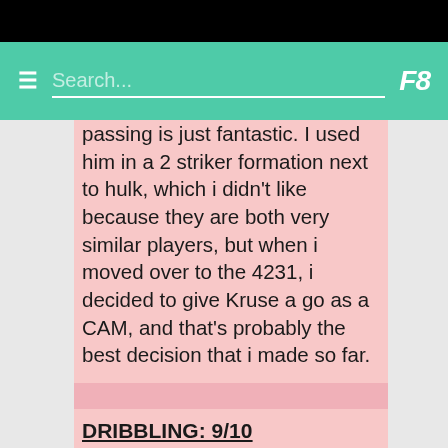Search...
passing is just fantastic. I used him in a 2 striker formation next to hulk, which i didn't like because they are both very similar players, but when i moved over to the 4231, i decided to give Kruse a go as a CAM, and that's probably the best decision that i made so far.
DRIBBLING: 9/10
Yes, i know that he lacks agility and balance, but he felt amazing on the ball. He was pretty agile on the ball and he keeps the ball close to his feet because of those maxed dribbling